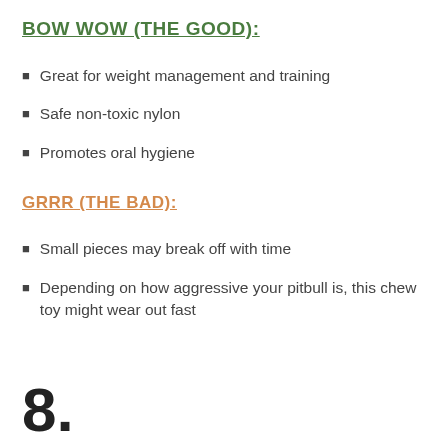BOW WOW (THE GOOD):
Great for weight management and training
Safe non-toxic nylon
Promotes oral hygiene
GRRR (THE BAD):
Small pieces may break off with time
Depending on how aggressive your pitbull is, this chew toy might wear out fast
8.
AIZARA DURABLE